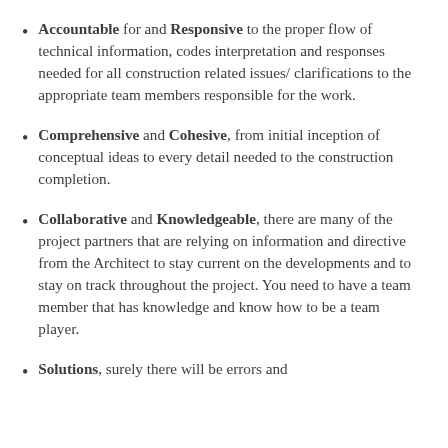Accountable for and Responsive to the proper flow of technical information, codes interpretation and responses needed for all construction related issues/ clarifications to the appropriate team members responsible for the work.
Comprehensive and Cohesive, from initial inception of conceptual ideas to every detail needed to the construction completion.
Collaborative and Knowledgeable, there are many of the project partners that are relying on information and directive from the Architect to stay current on the developments and to stay on track throughout the project. You need to have a team member that has knowledge and know how to be a team player.
Solutions, surely there will be errors and